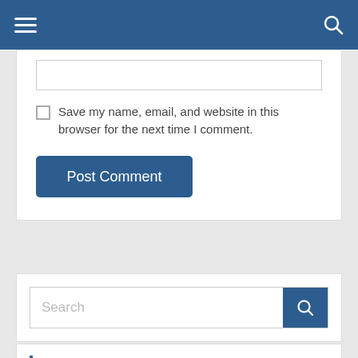Navigation bar with hamburger menu and search icon
[Figure (screenshot): Partially visible text input field at top of comment form]
Save my name, email, and website in this browser for the next time I comment.
Post Comment
[Figure (screenshot): Search bar with placeholder text 'Search' and blue search button]
Recent Posts
Southwest Airlines passenger AirDrone nude photo to